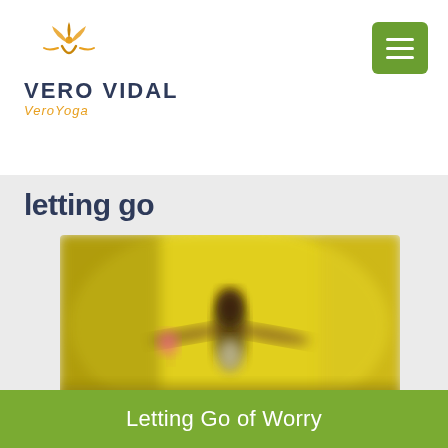[Figure (logo): Vero Vidal VeroYoga logo with stylized figure/leaf icon in orange and gold, and text 'VERO VIDAL' in dark navy with 'VeroYoga' in orange italic below]
letting go
[Figure (photo): Blurred photo of a person with arms outstretched in a yellow flower field, holding a pink balloon, releasing it — conveying letting go theme]
Letting Go of Worry